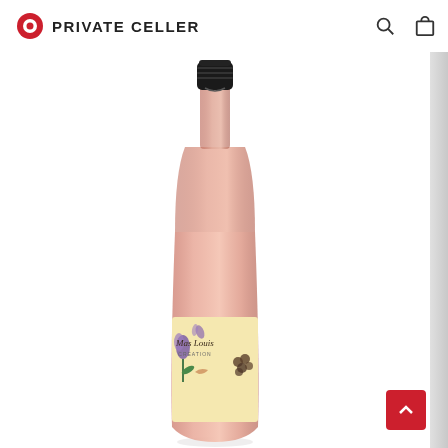PRIVATE CELLER
[Figure (photo): A rosé wine bottle with a black screw cap and a decorative label reading 'Mas Louis' with floral and botanical illustrations in purple, green and gold tones. The bottle has a pale salmon/pink rosé color wine inside.]